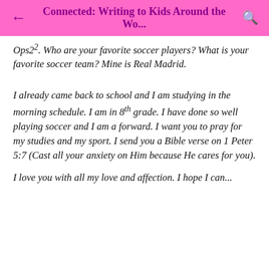Connected: Writing to Kids Around the Wo...
Ops2². Who are your favorite soccer players? What is your favorite soccer team? Mine is Real Madrid.
I already came back to school and I am studying in the morning schedule. I am in 8th grade. I have done so well playing soccer and I am a forward. I want you to pray for my studies and my sport. I send you a Bible verse on 1 Peter 5:7 (Cast all your anxiety on Him because He cares for you).
I love you with all my love and affection. I hope I can...